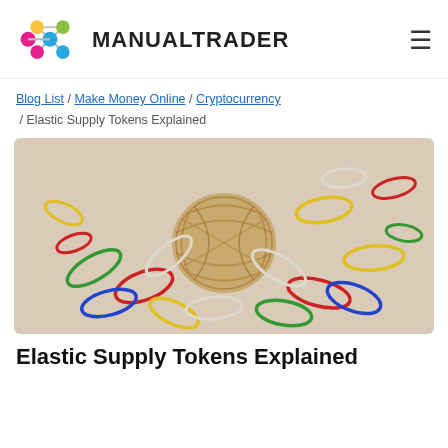MANUALTRADER
Blog List / Make Money Online / Cryptocurrency / Elastic Supply Tokens Explained
[Figure (photo): A ball of rubber bands surrounded by colorful loose rubber bands on a beige surface]
Elastic Supply Tokens Explained